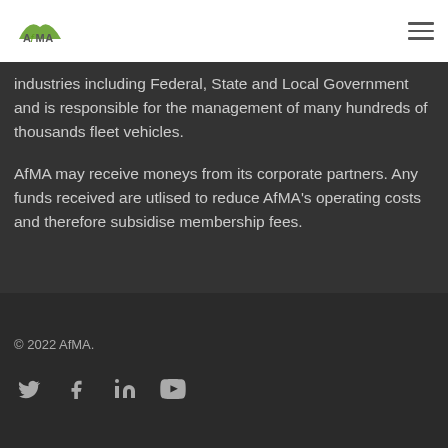AfMA logo and navigation menu
industries including Federal, State and Local Government and is responsible for the management of many hundreds of thousands fleet vehicles.
AfMA may receive moneys from its corporate partners. Any funds received are utlised to reduce AfMA’s operating costs and therefore subsidise membership fees.
© 2022 AfMA.
[Figure (other): Social media icons: Twitter, Facebook, LinkedIn, YouTube]